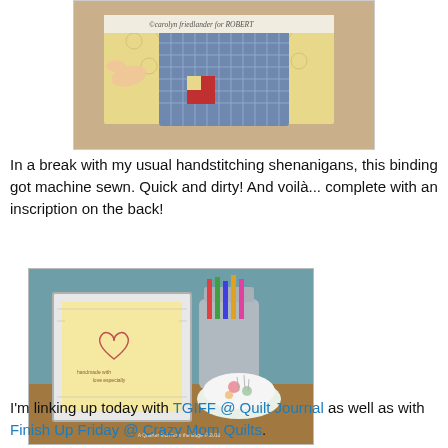[Figure (photo): Close-up photo of a quilt binding showing a fabric selvage with text 'carolyn friedlander for ROBERT...' visible. The quilt features a blue cross-hatch pattern with a red piece, on a yellow background.]
In a break with my usual handstitching shenanigans, this binding got machine sewn. Quick and dirty! And voilà... complete with an inscription on the back!
[Figure (photo): Photo of a finished small quilted item (mug rug or mini quilt) with a yellow center featuring an embroidered heart and text inscription, with a white border with grid pattern binding. A pincushion and mug with crafting supplies visible in background. Watermark reads 'A Quarter Inch from the Edge © 2016'.]
I'm linking up today with TGIFF @ Quilt Journal as well as with Finish Up Friday @ Crazy Mom Quilts.